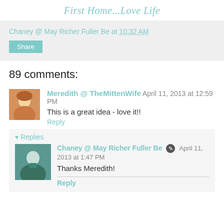First Home...Love Life
Chaney @ May Richer Fuller Be at 10:32 AM
Share
89 comments:
Meredith @ TheMittenWife  April 11, 2013 at 12:59 PM
This is a great idea - love it!!
Reply
Replies
Chaney @ May Richer Fuller Be  April 11, 2013 at 1:47 PM
Thanks Meredith!
Reply